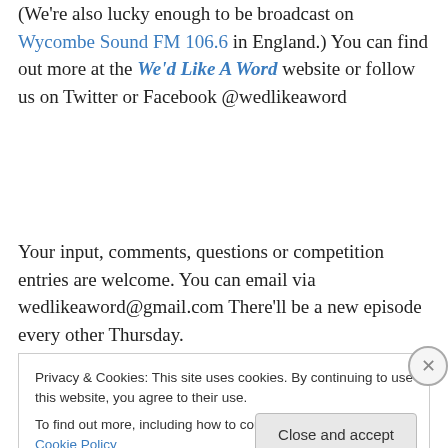(We're also lucky enough to be broadcast on Wycombe Sound FM 106.6 in England.) You can find out more at the We'd Like A Word website or follow us on Twitter or Facebook @wedlikaword
Your input, comments, questions or competition entries are welcome. You can email via wedlikeaword@gmail.com There'll be a new episode every other Thursday.
Privacy & Cookies: This site uses cookies. By continuing to use this website, you agree to their use. To find out more, including how to control cookies, see here: Cookie Policy